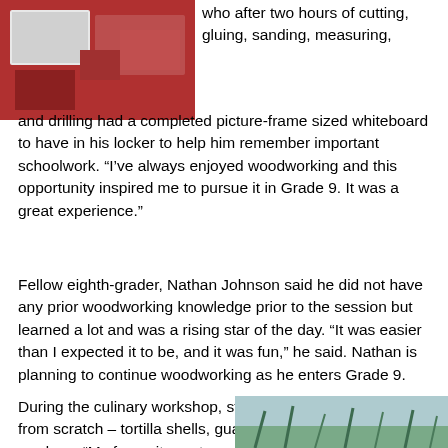[Figure (photo): Photo of students working at a table covered with red cloth, crafting/woodworking activity]
who after two hours of cutting, gluing, sanding, measuring, and drilling had a completed picture-frame sized whiteboard to have in his locker to help him remember important schoolwork. “I’ve always enjoyed woodworking and this opportunity inspired me to pursue it in Grade 9. It was a great experience.”
Fellow eighth-grader, Nathan Johnson said he did not have any prior woodworking knowledge prior to the session but learned a lot and was a rising star of the day. “It was easier than I expected it to be, and it was fun,” he said. Nathan is planning to continue woodworking as he enters Grade 9.
During the culinary workshop, students were making tacos from scratch – tortilla shells, guacamole, and chopping produce. “My favourite part was learning new skills including how to
[Figure (photo): Partial photo at bottom right corner showing outdoor winter/autumn scene with trees]